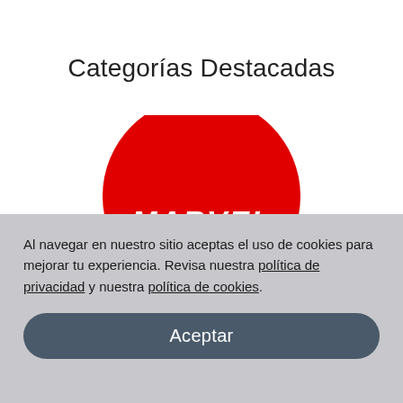Categorías Destacadas
[Figure (logo): Marvel logo: red semicircle/circle with white MARVEL text on it, partially visible]
Al navegar en nuestro sitio aceptas el uso de cookies para mejorar tu experiencia. Revisa nuestra política de privacidad y nuestra política de cookies.
Aceptar